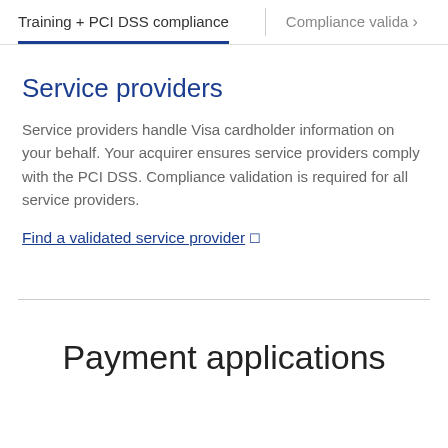Training + PCI DSS compliance	Compliance valida…
Service providers
Service providers handle Visa cardholder information on your behalf. Your acquirer ensures service providers comply with the PCI DSS. Compliance validation is required for all service providers.
Find a validated service provider ↗
Payment applications